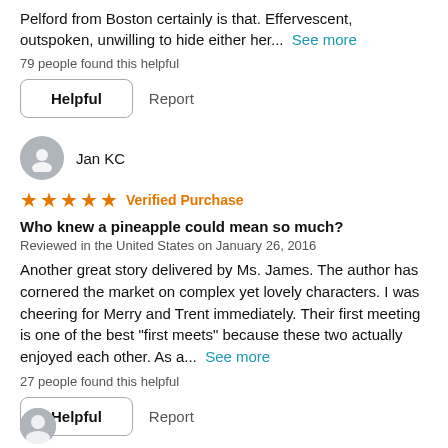Pelford from Boston certainly is that. Effervescent, outspoken, unwilling to hide either her... See more
79 people found this helpful
Helpful   Report
Jan KC
★★★★★ Verified Purchase
Who knew a pineapple could mean so much?
Reviewed in the United States on January 26, 2016
Another great story delivered by Ms. James. The author has cornered the market on complex yet lovely characters. I was cheering for Merry and Trent immediately. Their first meeting is one of the best "first meets" because these two actually enjoyed each other. As a... See more
27 people found this helpful
Helpful   Report